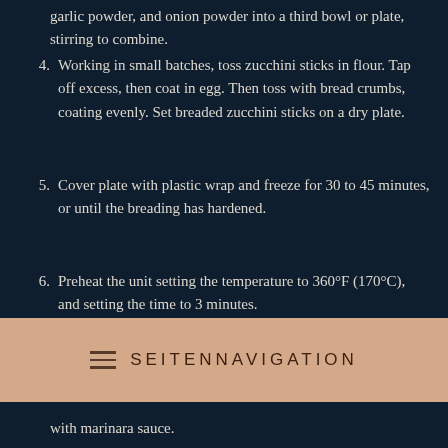garlic powder, and onion powder into a third bowl or plate, stirring to combine.
4. Working in small batches, toss zucchini sticks in flour. Tap off excess, then coat in egg. Then toss with bread crumbs, coating evenly. Set breaded zucchini sticks on a dry plate.
5. Cover plate with plastic wrap and freeze for 30 to 45 minutes, or until the breading has hardened.
6. Preheat the unit setting the temperature to 360°F (170°C), and setting the time to 3 minutes.
7. After 3 minutes, place zucchini sticks, set the temperature to 360°F (170°C), and set time to
[Figure (screenshot): Navigation bar overlay with hamburger menu icon and text SEITENNAVIGATION on a tan/beige background]
with marinara sauce.